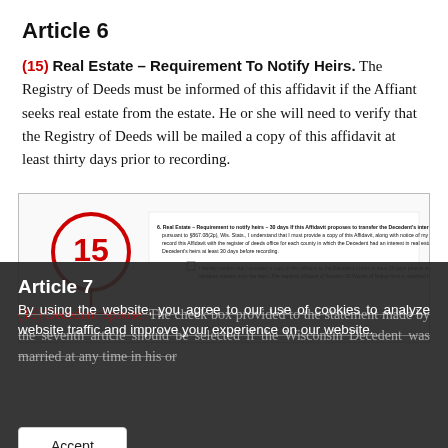Article 6
(15) Real Estate – Requirement To Notify Heirs. The Registry of Deeds must be informed of this affidavit if the Affiant seeks real estate from the estate. He or she will need to verify that the Registry of Deeds will be mailed a copy of this affidavit at least thirty days prior to recording.
[Figure (screenshot): Zoomed-in preview of a legal affidavit form showing item 6 'Real Estate – Requirement to notify heirs – 30 days' with a red circle highlighting '15' and a red arrow pointing to a checkbox statement about providing a copy of this Affidavit to the Decedent's heirs at least 30 days prior to recording.]
Article 7
By using the website, you agree to our use of cookies to analyze website traffic and improve your experience on our website.
(16) Decedent Spouse. The check box provided to the statement made by the seventh article should be selected if the Wisconsin Decedent was married at any time in his or
Accept